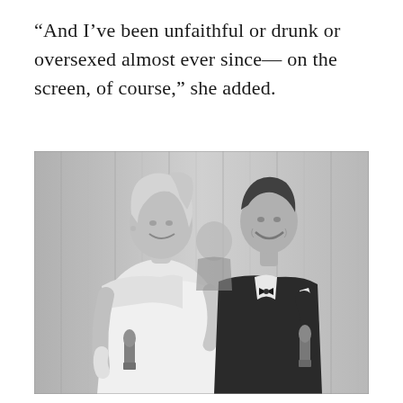“And I’ve been unfaithful or drunk or oversexed almost ever since— on the screen, of course,” she added.
[Figure (photo): Black and white photograph of a smiling blonde woman in an off-shoulder white dress holding an Oscar statuette, standing next to a smiling man in a tuxedo also holding an Oscar statuette, with curtains in the background.]